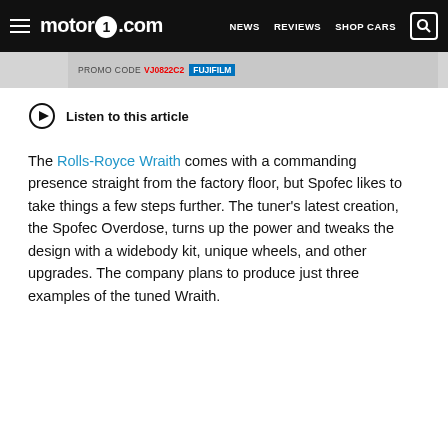motor1.com  NEWS  REVIEWS  SHOP CARS
[Figure (screenshot): Advertisement banner with promo code VJ0822C2]
Listen to this article
The Rolls-Royce Wraith comes with a commanding presence straight from the factory floor, but Spofec likes to take things a few steps further. The tuner's latest creation, the Spofec Overdose, turns up the power and tweaks the design with a widebody kit, unique wheels, and other upgrades. The company plans to produce just three examples of the tuned Wraith.